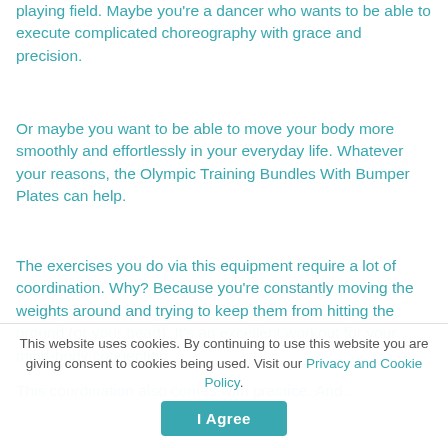playing field. Maybe you're a dancer who wants to be able to execute complicated choreography with grace and precision.
Or maybe you want to be able to move your body more smoothly and effortlessly in your everyday life. Whatever your reasons, the Olympic Training Bundles With Bumper Plates can help.
The exercises you do via this equipment require a lot of coordination. Why? Because you're constantly moving the weights around and trying to keep them from hitting the ground (or your head). It's an excellent workout for your mind-body connection.
This coordination also comes with practice. And...
This website uses cookies. By continuing to use this website you are giving consent to cookies being used. Visit our Privacy and Cookie Policy.